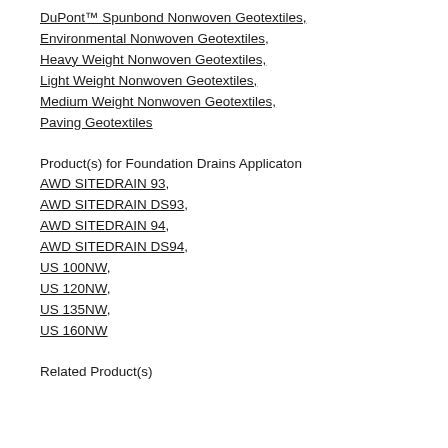DuPont™ Spunbond Nonwoven Geotextiles,
Environmental Nonwoven Geotextiles,
Heavy Weight Nonwoven Geotextiles,
Light Weight Nonwoven Geotextiles,
Medium Weight Nonwoven Geotextiles,
Paving Geotextiles
Product(s) for Foundation Drains Applicaton
AWD SITEDRAIN 93,
AWD SITEDRAIN DS93,
AWD SITEDRAIN 94,
AWD SITEDRAIN DS94,
US 100NW,
US 120NW,
US 135NW,
US 160NW
Related Product(s)